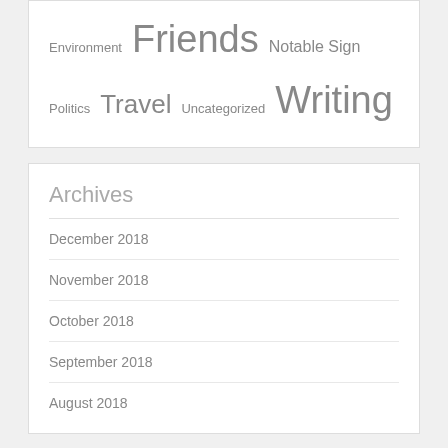Environment Friends Notable Sign Politics Travel Uncategorized Writing
Archives
December 2018
November 2018
October 2018
September 2018
August 2018